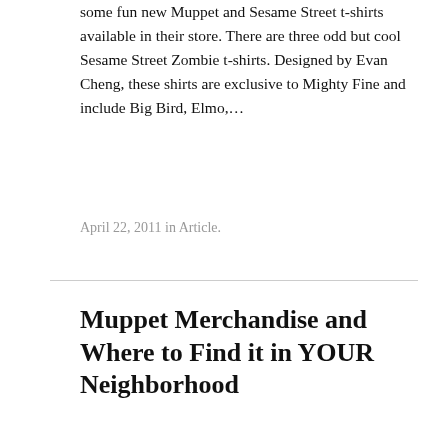some fun new Muppet and Sesame Street t-shirts available in their store. There are three odd but cool Sesame Street Zombie t-shirts. Designed by Evan Cheng, these shirts are exclusive to Mighty Fine and include Big Bird, Elmo,…
April 22, 2011 in Article.
Muppet Merchandise and Where to Find it in YOUR Neighborhood
Greetings, Muppet fans! Tired of hearing about all the great Muppet merchandise available in Walt Disney World and Disneyland–which are inconveniently not located near you? I know I am! Well, fear not friends, because The Muppet Mindset has gone through tireless (actually,